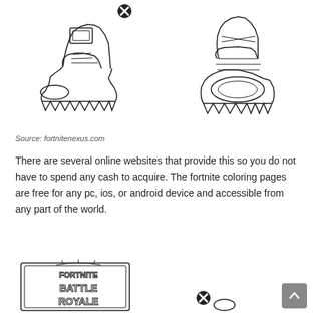[Figure (illustration): Two coloring page illustrations of Fortnite boots/shoes side by side. Left: a chunky lace-up boot viewed from the side with an X button icon. Right: a bottom-up view of a similar boot. Both are outline drawings in black and white.]
Source: fortnitenexus.com
There are several online websites that provide this so you do not have to spend any cash to acquire. The fortnite coloring pages are free for any pc, ios, or android device and accessible from any part of the world.
[Figure (illustration): Bottom portion showing two more Fortnite coloring page illustrations: left is the Fortnite Battle Royale logo outline; right is partially visible with an X button icon.]